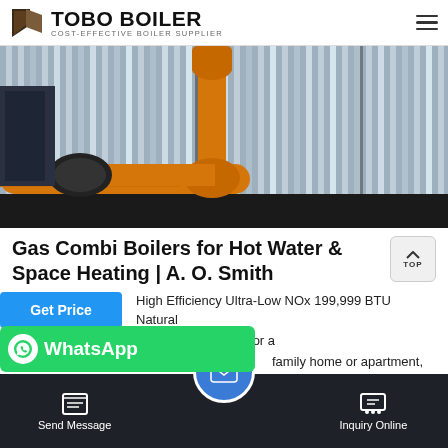TOBO BOILER | COST-EFFECTIVE BOILER SUPPLIER
[Figure (photo): Industrial boiler equipment photo showing yellow gas pipes and corrugated metal wall]
Gas Combi Boilers for Hot Water & Space Heating | A. O. Smith
High Efficiency Ultra-Low NOx 199,999 BTU Natural Boiler. Supplies enough domestic hot water for a family home or apartment, with a [min] provide
Send Message | Inquiry Online